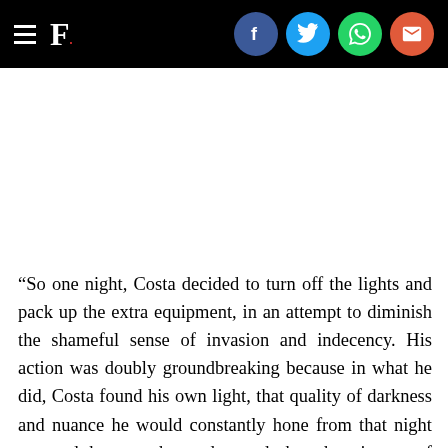F. [Forbes-style logo with social share icons: Facebook, Twitter, WhatsApp, Email]
“So one night, Costa decided to turn off the lights and pack up the extra equipment, in an attempt to diminish the shameful sense of invasion and indecency. His action was doubly groundbreaking because in what he did, Costa found his own light, that quality of darkness and nuance he would constantly hone from that night on, and because he understood that the cinema of tracking shots, assistants, producers, and lights was not his... What he wanted was to be alone in this neighborhood